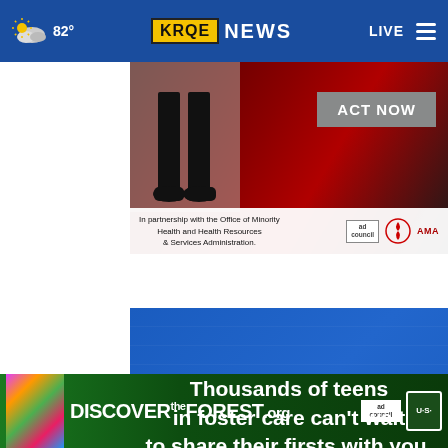[Figure (screenshot): KRQE News website navigation bar with weather (82°), KRQE NEWS logo, LIVE button and hamburger menu on blue background]
[Figure (screenshot): Advertisement: ACT NOW button on dark red/black background with person's legs visible. Footer text: 'In partnership with the Office of Minority Health and Health Resources & Services Administration.' with ad council, American Heart Association and AMA logos]
[Figure (screenshot): Advertisement: Blue background with white bold text reading 'Thousands of teens in foster care can't wait to share their firsts with you.' with a close (X) button]
[Figure (screenshot): Advertisement banner: DISCOVERtheFOREST.org with colorful flowers, forest background, Ad Council logo and US Forest Service shield logo]